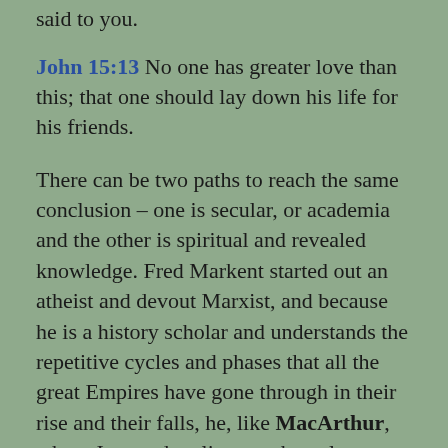said to you.
John 15:13 No one has greater love than this; that one should lay down his life for his friends.
There can be two paths to reach the same conclusion – one is secular, or academia and the other is spiritual and revealed knowledge. Fred Markent started out an atheist and devout Marxist, and because he is a history scholar and understands the repetitive cycles and phases that all the great Empires have gone through in their rise and their falls, he, like MacArthur, whom I quoted earlier, see the only answer for mankind's redemption and survival is a supernatural intervention and the conversion of all mankind. Let us just be thankful that